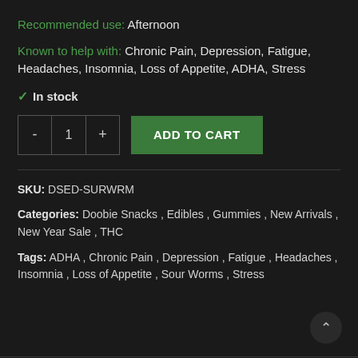Recommended use: Afternoon
Known to help with: Chronic Pain, Depression, Fatigue, Headaches, Insomnia, Loss of Appetite, ADHA, Stress
✓ In stock
- 1 + ADD TO CART
SKU: DSED-SURWRM
Categories: Doobie Snacks , Edibles , Gummies , New Arrivals , New Year Sale , THC
Tags: ADHA , Chronic Pain , Depression , Fatigue , Headaches , Insomnia , Loss of Appetite , Sour Worms , Stress